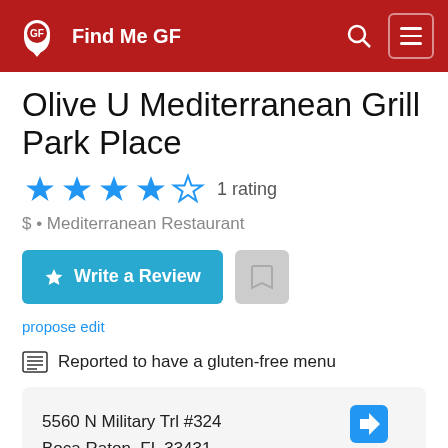Find Me GF
Olive U Mediterranean Grill Park Place
4 stars, 1 rating
$ • Mediterranean Restaurant
Write a Review
propose edit
Reported to have a gluten-free menu
5560 N Military Trl #324
Boca Raton, FL 33431